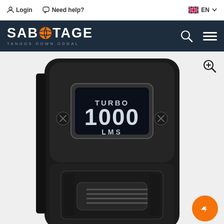Login   Need help?   EN
[Figure (logo): Sabotage Tangos Down Oddal logo with orange basketball graphic]
[Figure (photo): Close-up of a black tactical flashlight device showing OLED display reading TURBO 1000 LMS, with screws on sides and a grip button at bottom]